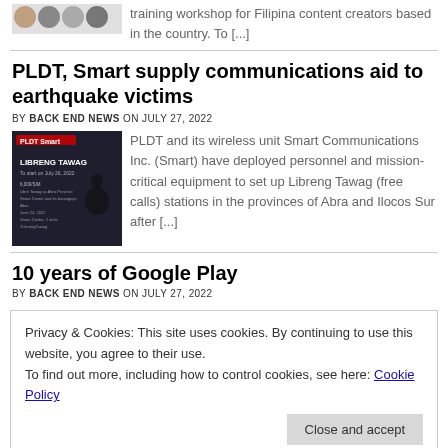training workshop for Filipina content creators based in the country. To [...]
PLDT, Smart supply communications aid to earthquake victims
BY BACK END NEWS ON JULY 27, 2022
[Figure (photo): Dark photo showing a billboard or banner with 'LIBRENG TAWAG' text and PLDT/Smart branding]
PLDT and its wireless unit Smart Communications Inc. (Smart) have deployed personnel and mission-critical equipment to set up Libreng Tawag (free calls) stations in the provinces of Abra and Ilocos Sur after [...]
10 years of Google Play
BY BACK END NEWS ON JULY 27, 2022
Privacy & Cookies: This site uses cookies. By continuing to use this website, you agree to their use.
To find out more, including how to control cookies, see here: Cookie Policy
Close and accept